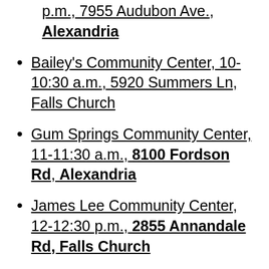p.m., 7955 Audubon Ave., Alexandria
Bailey's Community Center, 10-10:30 a.m., 5920 Summers Ln, Falls Church
Gum Springs Community Center, 11-11:30 a.m., 8100 Fordson Rd, Alexandria
James Lee Community Center, 12-12:30 p.m., 2855 Annandale Rd, Falls Church
Luther Jackson MS, 11-11:30 a.m., 3020 Gallows Rd, Falls Church